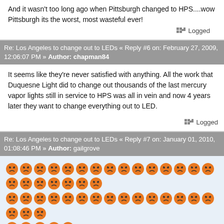And it wasn't too long ago when Pittsburgh changed to HPS....wow Pittsburgh its the worst, most wasteful ever!
Logged
Re: Los Angeles to change out to LEDs « Reply #6 on: February 27, 2009, 12:06:07 PM » Author: chapman84
It seems like they're never satisfied with anything. All the work that Duquesne Light did to change out thousands of the last mercury vapor lights still in service to HPS was all in vein and now 4 years later they want to change everything out to LED.
Logged
Re: Los Angeles to change out to LEDs « Reply #7 on: January 01, 2010, 01:08:46 PM » Author: gailgrove
[Figure (illustration): 45 orange frowning face emoticons arranged in rows]
Thats all I can say...
Logged
Re: Los Angeles to change out to LEDs « Reply #8 on: January